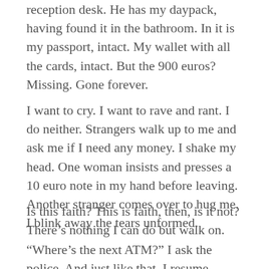reception desk. He has my daypack, having found it in the bathroom. In it is my passport, intact. My wallet with all the cards, intact. But the 900 euros? Missing. Gone forever.
I want to cry. I want to rave and rant. I do neither. Strangers walk up to me and ask me if I need any money. I shake my head. One woman insists and presses a 10 euro note in my hand before leaving. Another stranger comes over to hug me. I blink away the tears unformed.
Is this faith? This is faith, then, is it not? There’s nothing I can do but walk on.
“Where’s the next ATM?” I ask the police. And just like that, I resume walking.